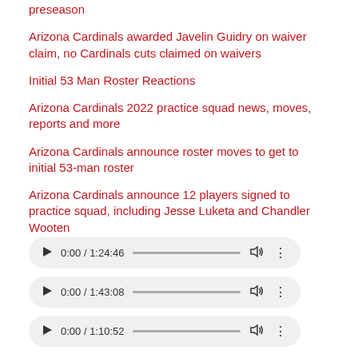preseason
Arizona Cardinals awarded Javelin Guidry on waiver claim, no Cardinals cuts claimed on waivers
Initial 53 Man Roster Reactions
Arizona Cardinals 2022 practice squad news, moves, reports and more
Arizona Cardinals announce roster moves to get to initial 53-man roster
Arizona Cardinals announce 12 players signed to practice squad, including Jesse Luketa and Chandler Wooten
[Figure (screenshot): Audio player showing 0:00 / 1:24:46 with play button, progress bar, volume icon, and more options icon]
[Figure (screenshot): Audio player showing 0:00 / 1:43:08 with play button, progress bar, volume icon, and more options icon]
[Figure (screenshot): Audio player showing 0:00 / 1:10:52 with play button, progress bar, volume icon, and more options icon]